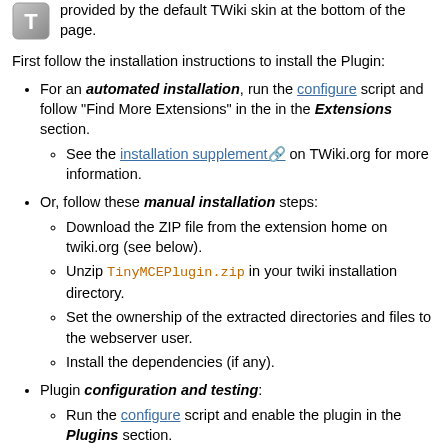provided by the default TWiki skin at the bottom of the page.
First follow the installation instructions to install the Plugin:
For an automated installation, run the configure script and follow "Find More Extensions" in the in the Extensions section.
See the installation supplement on TWiki.org for more information.
Or, follow these manual installation steps:
Download the ZIP file from the extension home on twiki.org (see below).
Unzip TinyMCEPlugin.zip in your twiki installation directory.
Set the ownership of the extracted directories and files to the webserver user.
Install the dependencies (if any).
Plugin configuration and testing:
Run the configure script and enable the plugin in the Plugins section.
Configure additional plugin settings in the